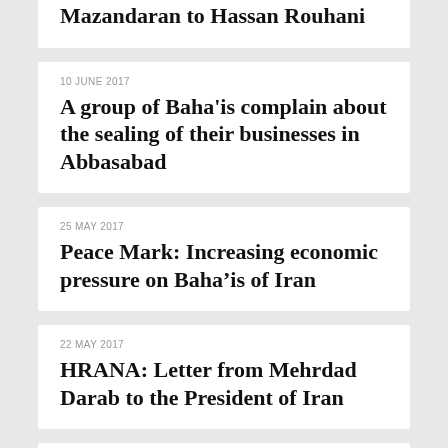Letter of Complaint by a Baha'i in Mazandaran to Hassan Rouhani
10 JUNE 2017
A group of Baha'is complain about the sealing of their businesses in Abbasabad
25 MAY 2017
Peace Mark: Increasing economic pressure on Baha'is of Iran
22 MAY 2017
HRANA: Letter from Mehrdad Darab to the President of Iran
15 MAY 2017
HRANA: Letter from Payam Vali to the presidency candidates